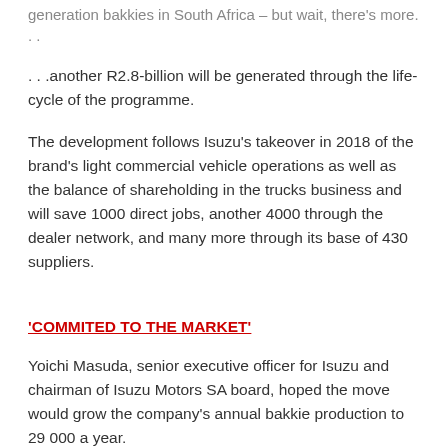generation bakkies in South Africa – but wait, there's more. . .
. . .another R2.8-billion will be generated through the life-cycle of the programme.
The development follows Isuzu's takeover in 2018 of the brand's light commercial vehicle operations as well as the balance of shareholding in the trucks business and will save 1000 direct jobs, another 4000 through the dealer network, and many more through its base of 430 suppliers.
'COMMITED TO THE MARKET'
Yoichi Masuda, senior executive officer for Isuzu and chairman of Isuzu Motors SA board, hoped the move would grow the company's annual bakkie production to 29 000 a year.